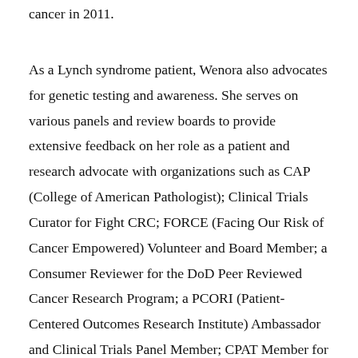cancer in 2011.
As a Lynch syndrome patient, Wenora also advocates for genetic testing and awareness. She serves on various panels and review boards to provide extensive feedback on her role as a patient and research advocate with organizations such as CAP (College of American Pathologist); Clinical Trials Curator for Fight CRC; FORCE (Facing Our Risk of Cancer Empowered) Volunteer and Board Member; a Consumer Reviewer for the DoD Peer Reviewed Cancer Research Program; a PCORI (Patient-Centered Outcomes Research Institute) Ambassador and Clinical Trials Panel Member; CPAT Member for the National Coalition for